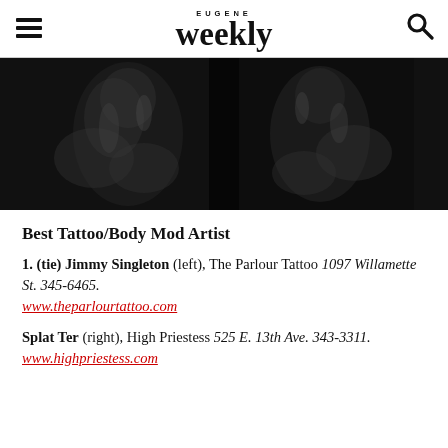EUGENE Weekly
[Figure (photo): Black and white photo of a tattooed person in dramatic lighting]
Best Tattoo/Body Mod Artist
1. (tie) Jimmy Singleton (left), The Parlour Tattoo 1097 Willamette St. 345-6465. www.theparlourtattoo.com
Splat Ter (right), High Priestess 525 E. 13th Ave. 343-3311. www.highpriestess.com